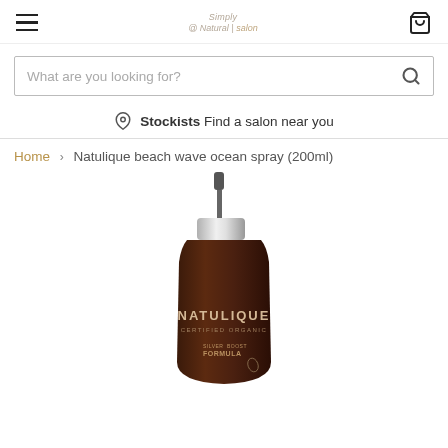Simply @ Natural | salon — navigation with hamburger menu and cart icon
What are you looking for?
Stockists Find a salon near you
Home > Natulique beach wave ocean spray (200ml)
[Figure (photo): A dark amber spray bottle with silver pump cap. Label reads: NATULIQUE CERTIFIED ORGANIC - FORMULA - BOOST]